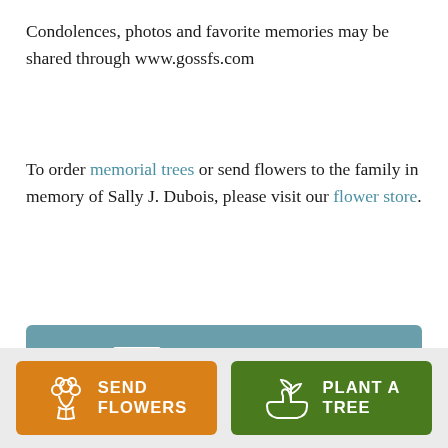Condolences, photos and favorite memories may be shared through www.gossfs.com
To order memorial trees or send flowers to the family in memory of Sally J. Dubois, please visit our flower store.
[Figure (other): Button: SEND A CARD with greeting card and heart icon, teal background]
[Figure (other): Two buttons side by side on gray bar: SEND FLOWERS (orange, flower bouquet icon) and PLANT A TREE (dark green, hand with plant icon)]